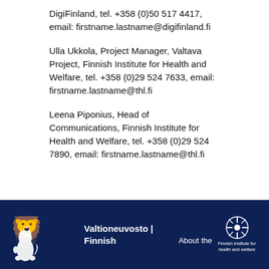DigiFinland, tel. +358 (0)50 517 4417, email: firstname.lastname@digifinland.fi
Ulla Ukkola, Project Manager, Valtava Project, Finnish Institute for Health and Welfare, tel. +358 (0)29 524 7633, email: firstname.lastname@thl.fi
Leena Piponius, Head of Communications, Finnish Institute for Health and Welfare, tel. +358 (0)29 524 7890, email: firstname.lastname@thl.fi
Valtioneuvosto | Finnish   About the   Finnish institute for health and welfare